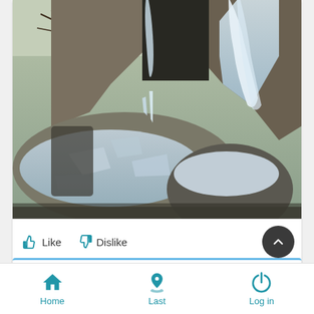[Figure (photo): Aerial view of a frozen waterfall cascading between rock walls with snow-covered rocks and ice formations at the base, surrounded by bare winter trees]
Like   Dislike
[Figure (other): Scroll-to-top button (dark circular button with upward chevron arrow)]
[Figure (other): Comment section stub with blue top border]
Home   Last   Log in